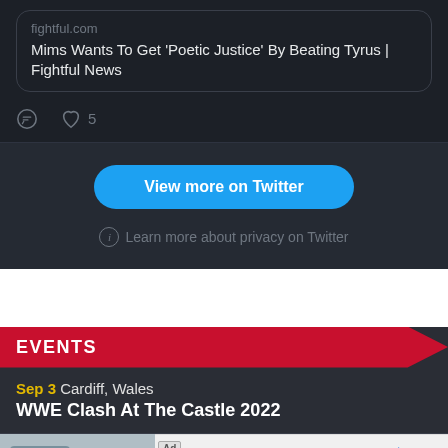[Figure (screenshot): Twitter/X embedded tweet card showing a link preview from fightful.com with title 'Mims Wants To Get Poetic Justice By Beating Tyrus | Fightful News' and action icons (comment, like with count 5)]
View more on Twitter
Learn more about privacy on Twitter
EVENTS
Sep 3  Cardiff, Wales
WWE Clash At The Castle 2022
[Figure (screenshot): Advertisement bar: 'Ad' label, product image, 'Your perfect filter fit', 'GM Genuine Parts/ACDelco', 'Explore Filters', close button]
Sep 4  NXT W...